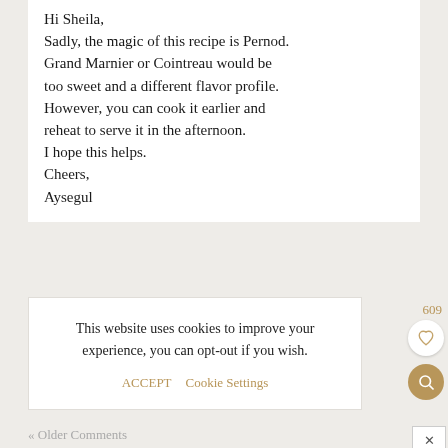Hi Sheila,
Sadly, the magic of this recipe is Pernod. Grand Marnier or Cointreau would be too sweet and a different flavor profile. However, you can cook it earlier and reheat to serve it in the afternoon.
I hope this helps.
Cheers,
Aysegul
This website uses cookies to improve your experience, you can opt-out if you wish.
ACCEPT    Cookie Settings
609
« Older Comments